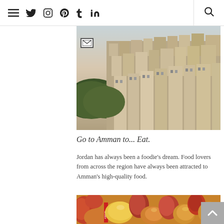≡ twitter instagram pinterest tumblr linkedin 🔍
[Figure (photo): Aerial/hillside view of Amman, Jordan showing densely packed beige/tan buildings on hills with green trees]
Go to Amman to... Eat.
Jordan has always been a foodie's dream. Food lovers from across the region have always been attracted to Amman's high-quality food.
[Figure (photo): Close-up of colorful tropical fruits including mangoes and melons at a market, with a red JORDAN label visible]